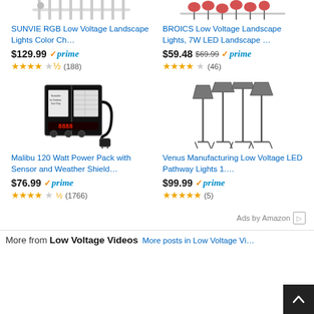[Figure (screenshot): Amazon product listing grid with 4 items: SUNVIE RGB Low Voltage Landscape Lights Color Ch... $129.99 prime (188 reviews), BROICS Low Voltage Landscape Lights 7W LED ... $59.48 was $69.99 prime (46 reviews), Malibu 120 Watt Power Pack with Sensor and Weather Shield... $76.99 prime (1766 reviews), Venus Manufacturing Low Voltage LED Pathway Lights 1.... $99.99 prime (5 reviews). Bottom shows Ads by Amazon and More from Low Voltage Videos section.]